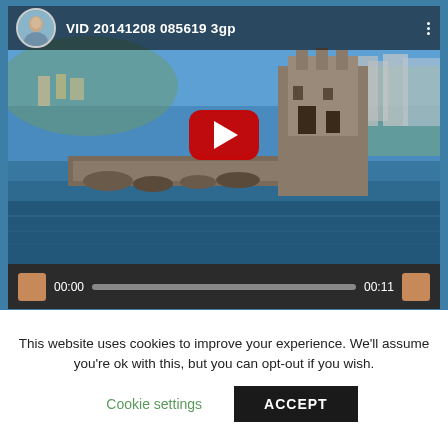[Figure (screenshot): YouTube-style video player showing a coastal landscape with a medieval stone tower and harbor. Title reads 'VID 20141208 085619 3gp'. Red play button in center. Controls bar with timestamps 00:00 and 00:11.]
› Homepage
› Contatti
› Blog
This website uses cookies to improve your experience. We'll assume you're ok with this, but you can opt-out if you wish.
Cookie settings   ACCEPT